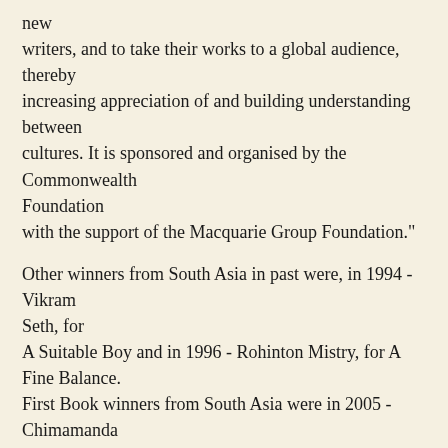new writers, and to take their works to a global audience, thereby increasing appreciation of and building understanding between cultures. It is sponsored and organised by the Commonwealth Foundation with the support of the Macquarie Group Foundation."
Other winners from South Asia in past were, in 1994 - Vikram Seth, for A Suitable Boy and in 1996 - Rohinton Mistry, for A Fine Balance. First Book winners from South Asia were in 2005 - Chimamanda Ngozi Adichie, for Purple Hibiscus and in 1996 - Vikram Chandra, for Red Earth, Pouring Rain.
"The Commonwealth Writers' Prize covers the Commonwealth regions of Africa, Europe and South Asia, The Caribbean and Canada, and South East Asia and the South Pacific. Entries are first assessed by four regional panels of judges and the selection of the overall winner is